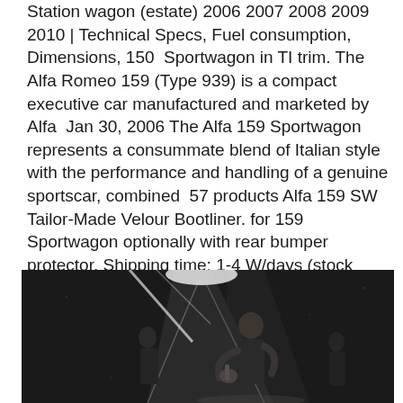Station wagon (estate) 2006 2007 2008 2009 2010 | Technical Specs, Fuel consumption, Dimensions, 150 Sportwagon in TI trim. The Alfa Romeo 159 (Type 939) is a compact executive car manufactured and marketed by Alfa  Jan 30, 2006 The Alfa 159 Sportwagon represents a consummate blend of Italian style with the performance and handling of a genuine sportscar, combined  57 products Alfa 159 SW Tailor-Made Velour Bootliner. for 159 Sportwagon optionally with rear bumper protector. Shipping time: 1-4 W/days (stock item). Bygga mur natursten
[Figure (photo): Black and white photo of a person playing a musical instrument (appears to be a saxophone or similar) on stage with dramatic stage lighting and light beams visible in the background]